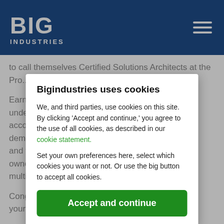BIG INDUSTRIES
to call themselves Certified Solutions Architects at the Pro...
Earners... understand... technologies to accomplish... demonstrate... practices and training... badge ownership... multiple...
Congra... for all your hard work, commitment and contribution...
Bigindustries uses cookies
We, and third parties, use cookies on this site. By clicking 'Accept and continue,' you agree to the use of all cookies, as described in our cookie statement.
Set your own preferences here, select which cookies you want or not. Or use the big button to accept all cookies.
Accept and continue